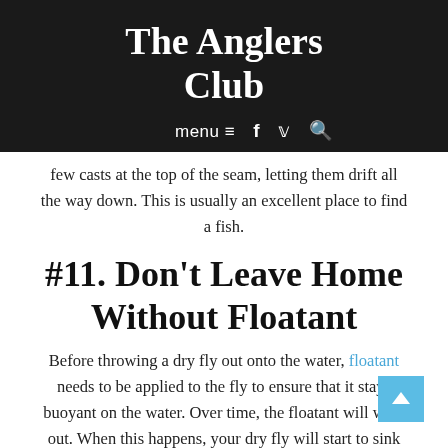The Anglers Club
menu ≡ f 🐦 🔍
few casts at the top of the seam, letting them drift all the way down. This is usually an excellent place to find a fish.
#11. Don't Leave Home Without Floatant
Before throwing a dry fly out onto the water, floatant needs to be applied to the fly to ensure that it stays buoyant on the water. Over time, the floatant will wear out. When this happens, your dry fly will start to sink